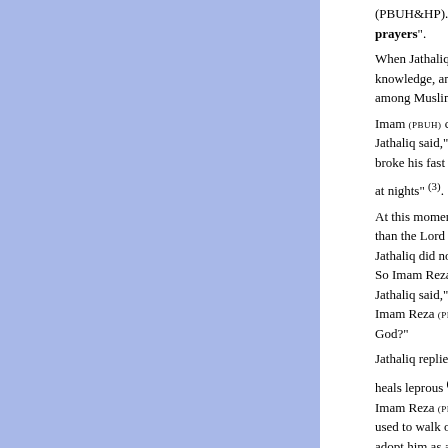(PBUH&HP). We have nothing against Jesus but his prayers". When Jathaliq heard the last words of the Imam (knowledge, and your argument has become weak. among Muslims!" Imam (PBUH) calmly replied to him by saying," Why Jathaliq said," Because you said that "Jesus used broke his fast during the day and never slept at nights" (3). At this moment, Imam Reza (PBUH) referred to the than the Lord and was served" by saying," For who Jathaliq did not respond, because he did not know w So Imam Reza (PBUH) turned to him and said," (Nov Jathaliq said," Go ahead. I will respond if I know th Imam Reza (PBUH) asked," Do you deny that Jesus God?" Jathaliq replied," I used to deny this; because who heals leprous (4) is a God worthy of being worshipped Imam Reza (PBUH) rejected his claim by saying," In used to walk on water, revive the dead, and heal th adopt him as a Lord and worship him? Ezekiel also sixty years after their death."